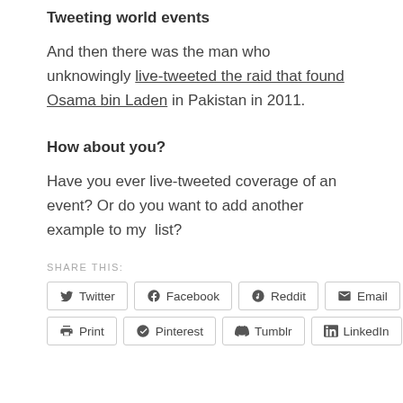Tweeting world events
And then there was the man who unknowingly live-tweeted the raid that found Osama bin Laden in Pakistan in 2011.
How about you?
Have you ever live-tweeted coverage of an event? Or do you want to add another example to my list?
SHARE THIS:
Twitter  Facebook  Reddit  Email  Print  Pinterest  Tumblr  LinkedIn